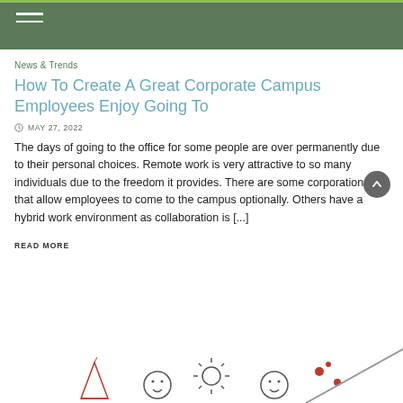News & Trends
How To Create A Great Corporate Campus Employees Enjoy Going To
MAY 27, 2022
The days of going to the office for some people are over permanently due to their personal choices. Remote work is very attractive to so many individuals due to the freedom it provides. There are some corporations that allow employees to come to the campus optionally. Others have a hybrid work environment as collaboration is [...]
READ MORE
[Figure (illustration): Partial view of cartoon-style doodle illustration showing simple drawn figures including a party hat, smiley faces, a sun, and red dots on a diagonal line, cut off at bottom of page]